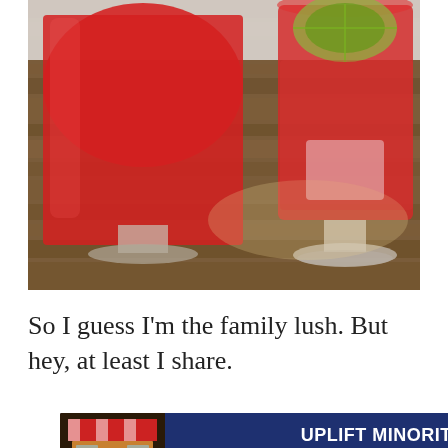[Figure (photo): Close-up photo of two red cocktail drinks in clear footed glasses on a rustic wooden surface. The right glass has a lime slice garnish. The drinks are bright red/pink in color.]
So I guess I'm the family lush. But hey, at least I share.
[Figure (screenshot): Advertisement banner: 'UPLIFT MINORITY OWNED BUSINESSES' with storefront illustration on dark blue background, close buttons on the right.]